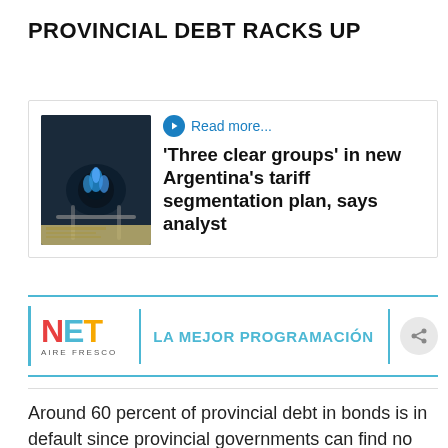PROVINCIAL DEBT RACKS UP
[Figure (screenshot): News card with a photo of a gas stove burner and a headline: 'Three clear groups' in new Argentina's tariff segmentation plan, says analyst]
[Figure (logo): NET Aire Fresco — LA MEJOR PROGRAMACIÓN advertisement banner]
Around 60 percent of provincial debt in bonds is in default since provincial governments can find no way to make dollar payments to foreign